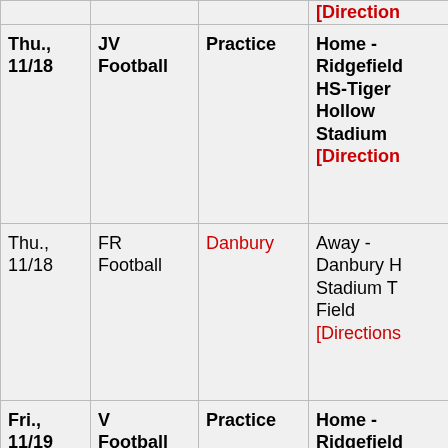| Date | Team | Opponent/Event | Location |
| --- | --- | --- | --- |
|  |  |  | [Directions] |
| Thu., 11/18 | JV Football | Practice | Home - Ridgefield HS-Tiger Hollow Stadium [Directions] |
| Thu., 11/18 | FR Football | Danbury | Away - Danbury H Stadium T Field [Directions] |
| Fri., 11/19 | V Football | Practice | Home - Ridgefield HS-Tiger Hollow |